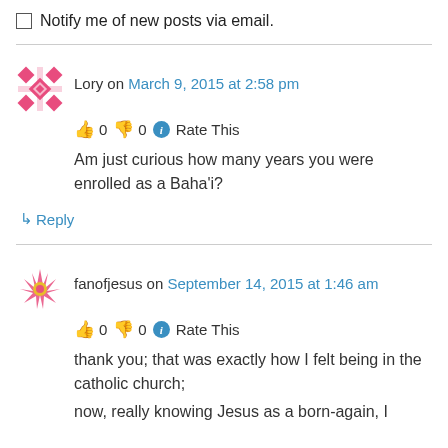Notify me of new posts via email.
Lory on March 9, 2015 at 2:58 pm
👍 0 👎 0 ℹ Rate This
Am just curious how many years you were enrolled as a Baha'i?
↳ Reply
fanofjesus on September 14, 2015 at 1:46 am
👍 0 👎 0 ℹ Rate This
thank you; that was exactly how I felt being in the catholic church;
now, really knowing Jesus as a born-again, I